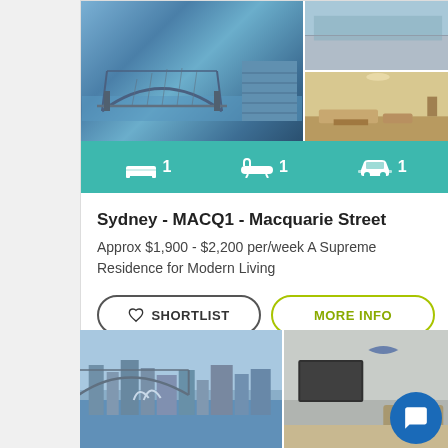[Figure (photo): Property listing card with Sydney harbour photos, amenities bar, and action buttons]
Sydney - MACQ1 - Macquarie Street
Approx $1,900 - $2,200 per/week A Supreme Residence for Modern Living
[Figure (photo): Second property listing with Sydney harbour view photos, partially visible]